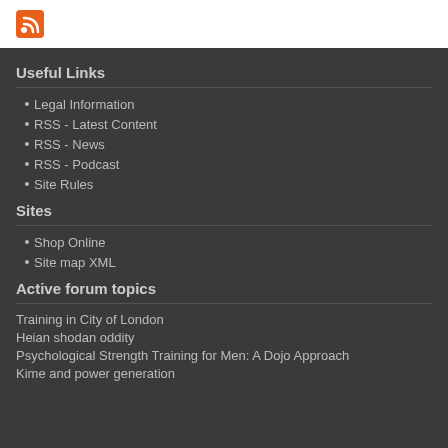[Figure (logo): RSS feed icon (orange and white)]
Useful Links
Legal Information
RSS - Latest Content
RSS - News
RSS - Podcast
Site Rules
Sites
Shop Online
Site map XML
Active forum topics
Training in City of London
Heian shodan oddity
Psychological Strength Training for Men: A Dojo Approach
Kime and power generation